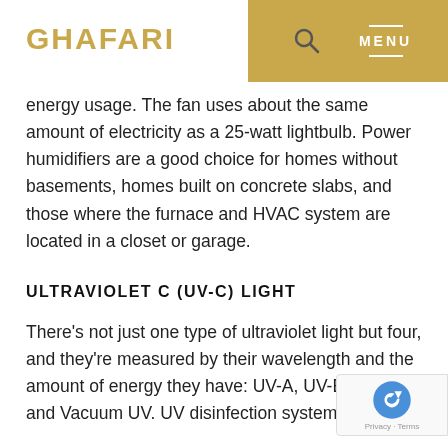GHAFARI
energy usage. The fan uses about the same amount of electricity as a 25-watt lightbulb. Power humidifiers are a good choice for homes without basements, homes built on concrete slabs, and those where the furnace and HVAC system are located in a closet or garage.
ULTRAVIOLET C (UV-C) LIGHT
There's not just one type of ultraviolet light but four, and they're measured by their wavelength and the amount of energy they have: UV-A, UV-B, UV-C, and Vacuum UV. UV disinfection systems use